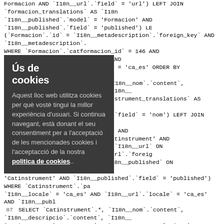Formacion AND `I18n__url`.`field` = 'url') LEFT JOIN `formacion_translations` AS `I18n`I18n__published`.`model` = 'Formacion' AND `I18n__published`.`field` = 'published') LE(`Formacion`.`id` = `I18n__metadescription`.`foreign_key` AND `I18n__metadescription`.WHERE `Formacion`.`catformacion_id` = 146 AND `I18n__nom`.`locale` = 'ca_es' AND `I18n__metadescription`.`locale` = 'ca_es' ORDER BY `Formacion`.`nom` ASC
86 SELECT `Catinstrument`.*, `I18n__nom`.`content`, `I18n__descripcio`.`content`, `I18n__`Catinstrument` LEFT JOIN `catinstrument_translations` AS `I18n__nom` ON (`Catinstru'Catinstrument' AND `I18n__nom`.`field` = 'nom') LEFT JOIN `catinstrument_translations`I18n__descripcio`.`foreign_key` AND `I18n__descripcio`.`model` = 'Catinstrument' AND `catinstrument_translations` AS `I18n__url` ON (`Catinstrument`.`id` = `I18n__url`.`foreig`instrument_translations` AS `I18n__published` ON (`Catinstrument`.'Catinstrument' AND `I18n__published`.`field` = 'published') WHERE `Catinstrument`.`pa`I18n__locale` = 'ca_es' AND `I18n__url`.`locale` = 'ca_es' AND `I18n__publ
87 SELECT `Catinstrument`.*, `I18n__nom`.`content`, `I18n__descripcio`.`content`, `I18n__`Catinstrument` LEFT JOIN `catinstrument_translations` AS `I18n__nom` ON (`Catinstru'Catinstrument' AND `I18n__nom`.`field` = 'nom') LEFT JOIN `catinstrument_translations``I18n__descripcio`.`foreign_key` AND `I18n__descripcio`.`model` = 'Catinstrument' AND `catinstrument_translations` AS `I18n__url` ON (`Catinstrument`.`id` = `I18n__url`.`foreig`instrument_translations` AS `I18n__published` ON (`Catinstrument`.'Catinstrument' AND `I18n__published`.`field` = 'published') WHERE `Catinstrument`.`pa`I18n__locale` = 'ca_es' AND `I18n__url`.`locale` = 'ca_es' AND `I18n__publ
88 SELECT `I18n__nom`.`content`, `I18n__plural`.`content`, `I18n__abreviacio`.`content` FROM `instruments` AS `Instrument` LEFT JOIN `inst``I18n__nom`.`model` = 'Instrument' AND `I18n__nom`.(`I18n__plural`.`foreign_key` AND `I18n__plural`.`model` = 'Instrumen(`Instrument`.`id` = `I18n__abreviacio`.`foreign_key` AND `I18n__`instrument_translations` AS `I18n__url` ON (`Instrument`.`id` =`I18n__url`.`field` = 'url') LEFT JOIN `instrument_translations` AS `I18n__published` ON`I18n__published`.`model` = 'Instrument' AND `I18n__published`.`field` = 'published') LE(`Instrument`.`id` = `I18n__metadescription`.`foreign_key` AND `I18n__metadescriptionWHERE `Instrument`.`catinstrument_id` = 71 AND `I18n__nom`.`locale` = 'ca_es' AND `I18n__url`.`locale` = 'ca_es' AND `I18n__published`.`locale` = 'ca_es' AND `I18n__mets
Ús de cookies
Aquest lloc web utilitza cookies per què vostè tingui la millor experiència d'usuari. Si continua navegant, està donant el seu consentiment per a l'acceptació de les mencionades cookies i l'acceptacció de la nostra politica de cookies..